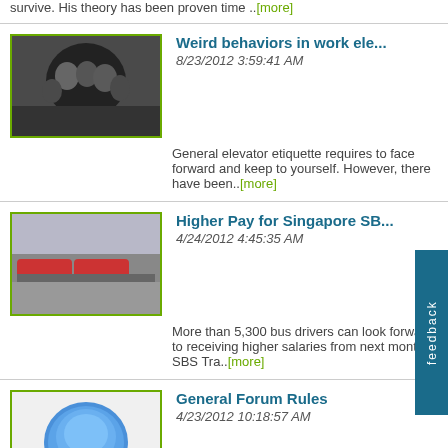survive. His theory has been proven time ..[more]
Weird behaviors in work ele...
8/23/2012 3:59:41 AM
General elevator etiquette requires to face forward and keep to yourself. However, there have been..[more]
Higher Pay for Singapore SB...
4/24/2012 4:45:35 AM
More than 5,300 bus drivers can look forward to receiving higher salaries from next month, SBS Tra..[more]
General Forum Rules
4/23/2012 10:18:57 AM
General Forum Rules: These rules apply to all Forum categories. We take the "Be Polite" rule v..[more]
View All
Advertisements